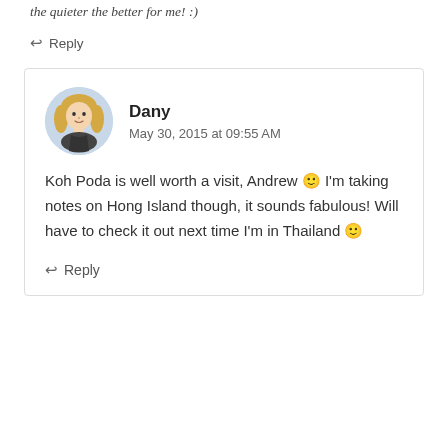the quieter the better for me! :)
↩ Reply
Dany
May 30, 2015 at 09:55 AM
Koh Poda is well worth a visit, Andrew 🙂 I'm taking notes on Hong Island though, it sounds fabulous! Will have to check it out next time I'm in Thailand 🙂
↩ Reply